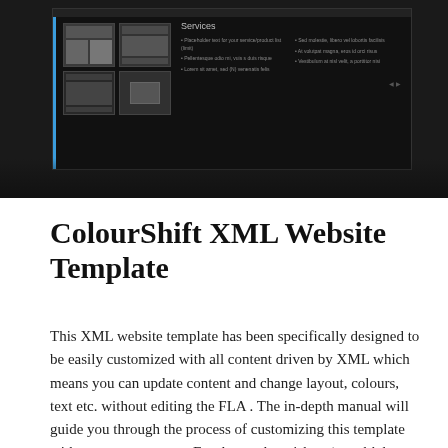[Figure (screenshot): A dark-themed website template screenshot showing a 'Services' page with thumbnail images of web pages on the left and bullet point services listed on the right, against a dark background.]
ColourShift XML Website Template
This XML website template has been specifically designed to be easily customized with all content driven by XML which means you can update content and change layout, colours, text etc. without editing the FLA . The in-depth manual will guide you through the process of customizing this template with your own content. For those who wish to 'tweak' the flash, all FLA files are included and all